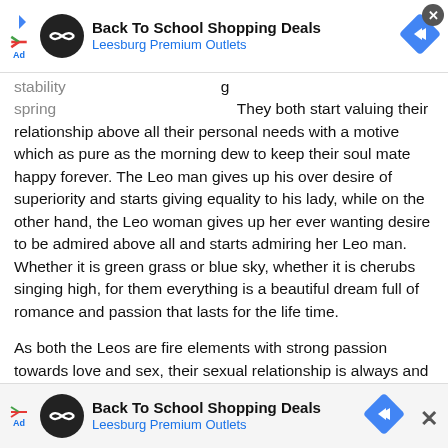[Figure (other): Advertisement banner: Back To School Shopping Deals - Leesburg Premium Outlets, with logo and navigation arrow icons, and close button]
stability [partial, obscured by ad] g spring [partial, obscured by ad] They both start valuing their relationship above all their personal needs with a motive which as pure as the morning dew to keep their soul mate happy forever. The Leo man gives up his over desire of superiority and starts giving equality to his lady, while on the other hand, the Leo woman gives up her ever wanting desire to be admired above all and starts admiring her Leo man. Whether it is green grass or blue sky, whether it is cherubs singing high, for them everything is a beautiful dream full of romance and passion that lasts for the life time.
As both the Leos are fire elements with strong passion towards love and sex, their sexual relationship is always and ever near to perfect. Both of them are always ready to accept and show affection to each other. This blended with the right amount of sex and romance creates a union that leaves nothing else to do but to make love in the late hours of their lives. As long as the Leo man and woman can get [cut off]
[Figure (other): Advertisement banner at bottom: Back To School Shopping Deals - Leesburg Premium Outlets, with logo and navigation arrow icons, and close X button on right]